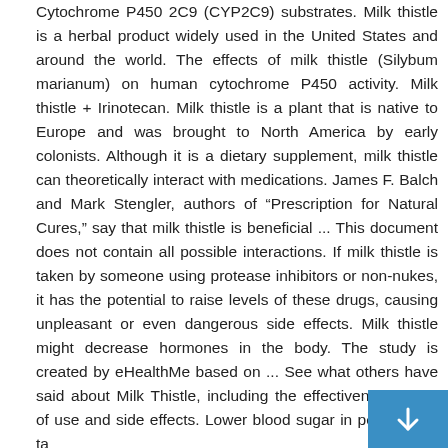Cytochrome P450 2C9 (CYP2C9) substrates. Milk thistle is a herbal product widely used in the United States and around the world. The effects of milk thistle (Silybum marianum) on human cytochrome P450 activity. Milk thistle + Irinotecan. Milk thistle is a plant that is native to Europe and was brought to North America by early colonists. Although it is a dietary supplement, milk thistle can theoretically interact with medications. James F. Balch and Mark Stengler, authors of “Prescription for Natural Cures,” say that milk thistle is beneficial ... This document does not contain all possible interactions. If milk thistle is taken by someone using protease inhibitors or non-nukes, it has the potential to raise levels of these drugs, causing unpleasant or even dangerous side effects. Milk thistle might decrease hormones in the body. The study is created by eHealthMe based on ... See what others have said about Milk Thistle, including the effectiveness, ease of use and side effects. Lower blood sugar in people who ta